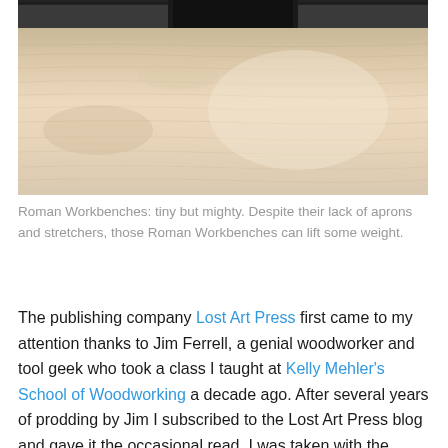[Figure (photo): Close-up photo of a wooden workbench surface with wood grain texture visible. A dark object (book or tablet) is partially visible at the top edge of the image.]
Roman Workbenches: tiny but mighty. Despite their lack of aprons and stretchers, those Roman Workbenches can lift some weight.
The publishing company Lost Art Press first came to my attention thanks to Jim Ferrell, a genial woodworker and tool geek who took a class I taught at Kelly Mehler's School of Woodworking a decade ago. After several years of prodding by Jim I subscribed to the Lost Art Press blog and gave it the occasional read. I was taken with the